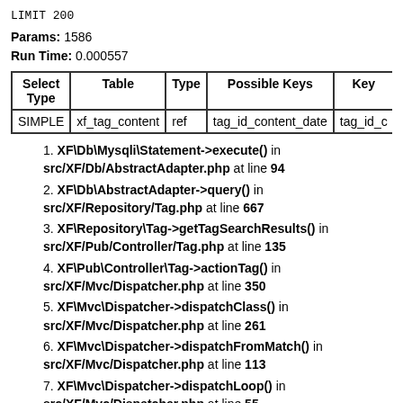LIMIT 200
Params: 1586
Run Time: 0.000557
| Select Type | Table | Type | Possible Keys | Key |
| --- | --- | --- | --- | --- |
| SIMPLE | xf_tag_content | ref | tag_id_content_date | tag_id_c |
XF\Db\Mysqli\Statement->execute() in src/XF/Db/AbstractAdapter.php at line 94
XF\Db\AbstractAdapter->query() in src/XF/Repository/Tag.php at line 667
XF\Repository\Tag->getTagSearchResults() in src/XF/Pub/Controller/Tag.php at line 135
XF\Pub\Controller\Tag->actionTag() in src/XF/Mvc/Dispatcher.php at line 350
XF\Mvc\Dispatcher->dispatchClass() in src/XF/Mvc/Dispatcher.php at line 261
XF\Mvc\Dispatcher->dispatchFromMatch() in src/XF/Mvc/Dispatcher.php at line 113
XF\Mvc\Dispatcher->dispatchLoop() in src/XF/Mvc/Dispatcher.php at line 55
XF\Mvc\Dispatcher->run() in src/XF/App.php at line 2190